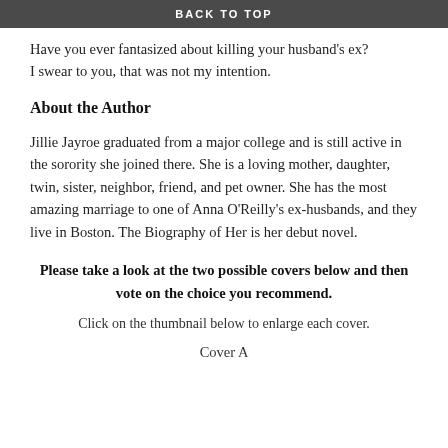BACK TO TOP
Have you ever fantasized about killing your husband's ex? I swear to you, that was not my intention.
About the Author
Jillie Jayroe graduated from a major college and is still active in the sorority she joined there. She is a loving mother, daughter, twin, sister, neighbor, friend, and pet owner. She has the most amazing marriage to one of Anna O'Reilly's ex-husbands, and they live in Boston. The Biography of Her is her debut novel.
Please take a look at the two possible covers below and then vote on the choice you recommend.
Click on the thumbnail below to enlarge each cover.
Cover A